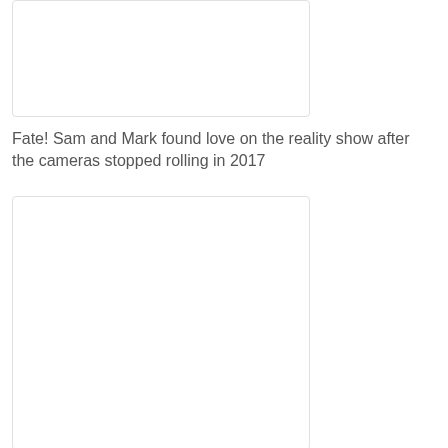[Figure (photo): Empty white image placeholder box at top of page]
Fate! Sam and Mark found love on the reality show after the cameras stopped rolling in 2017
[Figure (photo): Empty white image placeholder box at bottom of page]